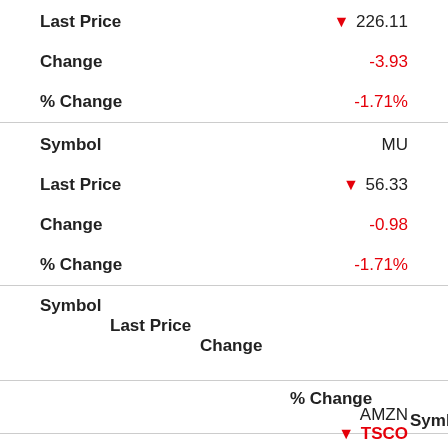| Field | Value |
| --- | --- |
| Last Price | ▼ 226.11 |
| Change | -3.93 |
| % Change | -1.71% |
| Field | Value |
| --- | --- |
| Symbol | MU |
| Last Price | ▼ 56.33 |
| Change | -0.98 |
| % Change | -1.71% |
| Field | Value |
| --- | --- |
| Symbol |  |
| Last Price |  |
| Change |  |
| % Change |  |
| Symbol | AMZN |
▼ TSCO